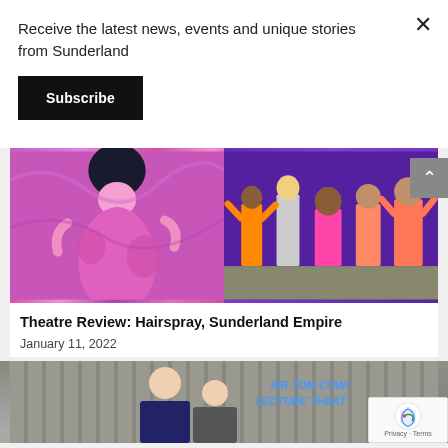Receive the latest news, events and unique stories from Sunderland
Subscribe
[Figure (photo): Theatre performance photo split into two panels: left shows a woman in colourful psychedelic dress with arms outstretched; right shows ensemble cast dancing in purple-lit stage]
Theatre Review: Hairspray, Sunderland Empire
January 11, 2022
[Figure (photo): Two people standing in front of Sir Tom Cowie Lecture Theatre sign]